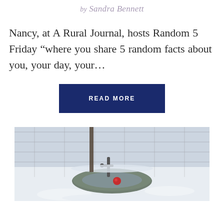by Sandra Bennett
Nancy, at A Rural Journal, hosts Random 5 Friday “where you share 5 random facts about you, your day, your…
READ MORE
[Figure (photo): Outdoor winter photo showing a water trough or tank in a snowy enclosure with pipes/faucet, snow covering the ground, and wire fencing visible in the background.]